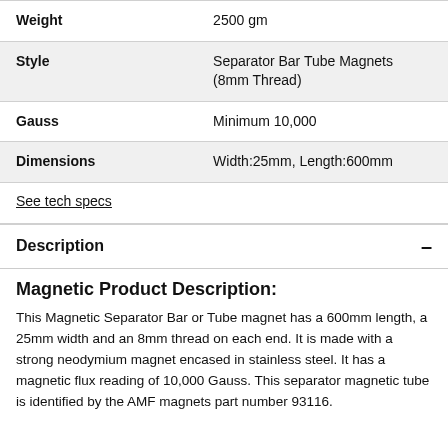| Attribute | Value |
| --- | --- |
| Weight | 2500 gm |
| Style | Separator Bar Tube Magnets (8mm Thread) |
| Gauss | Minimum 10,000 |
| Dimensions | Width:25mm, Length:600mm |
See tech specs
Description
Magnetic Product Description:
This Magnetic Separator Bar or Tube magnet has a 600mm length, a 25mm width and an 8mm thread on each end. It is made with a strong neodymium magnet encased in stainless steel. It has a magnetic flux reading of 10,000 Gauss. This separator magnetic tube is identified by the AMF magnets part number 93116.